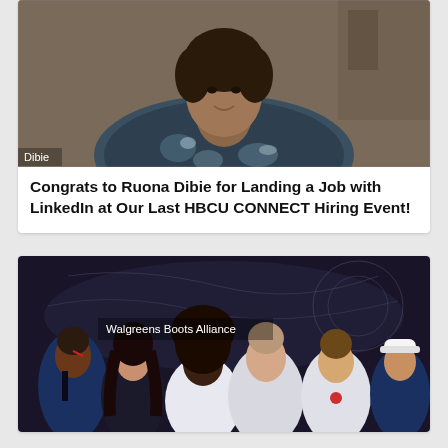[Figure (photo): Photo of Ruona Dibie smiling, wearing a floral shirt, seated indoors in a video call screenshot. Label 'Dibie' appears at bottom left.]
Congrats to Ruona Dibie for Landing a Job with LinkedIn at Our Last HBCU CONNECT Hiring Event!
[Figure (illustration): Illustrated artwork showing six diverse people in professional attire against a dark background with a world map. Text overlay reads 'Walgreens Boots Alliance'. People depicted include individuals in medical coats, business attire, and a Walgreens branded hard hat.]